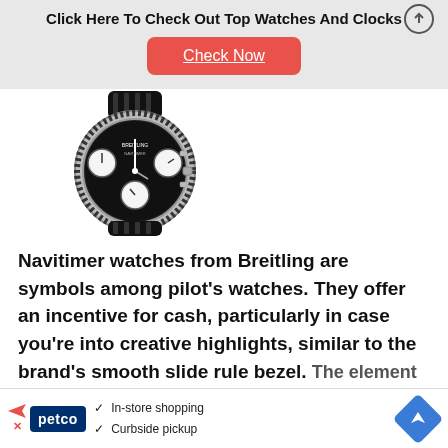Click Here To Check Out Top Watches And Clocks
[Figure (photo): A Breitling Navitimer chronograph watch with black dial, multiple sub-dials, tachymeter bezel, and black leather strap, photographed on white background.]
Navitimer watches from Breitling are symbols among pilot's watches. They offer an incentive for cash, particularly in case you're into creative highlights, similar to the brand's smooth slide rule bezel. The element helps with a few
[Figure (infographic): Bottom advertisement banner for Petco showing: In-store shopping, Curbside pickup checkmarks, Petco logo, navigation arrow icon, and ad icons.]